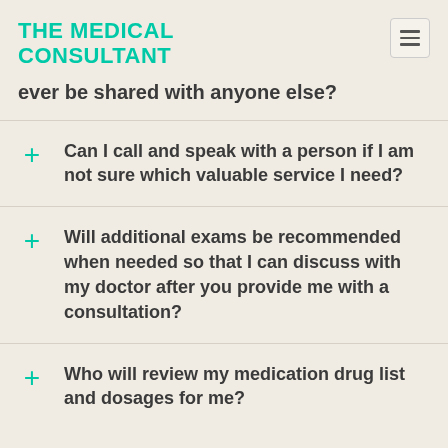THE MEDICAL CONSULTANT
ever be shared with anyone else?
Can I call and speak with a person if I am not sure which valuable service I need?
Will additional exams be recommended when needed so that I can discuss with my doctor after you provide me with a consultation?
Who will review my medication drug list and dosages for me?